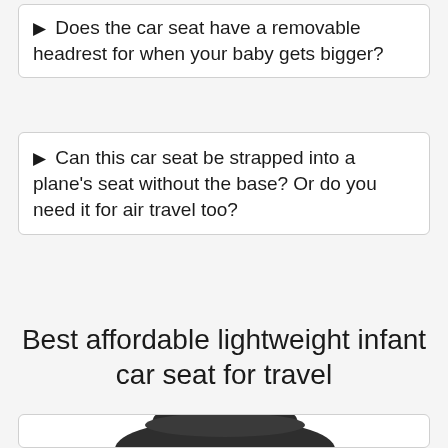▶ Does the car seat have a removable headrest for when your baby gets bigger?
▶ Can this car seat be strapped into a plane's seat without the base? Or do you need it for air travel too?
Best affordable lightweight infant car seat for travel
[Figure (photo): Photo of a dark grey/black infant car seat with handle, shown against a white background inside a card]